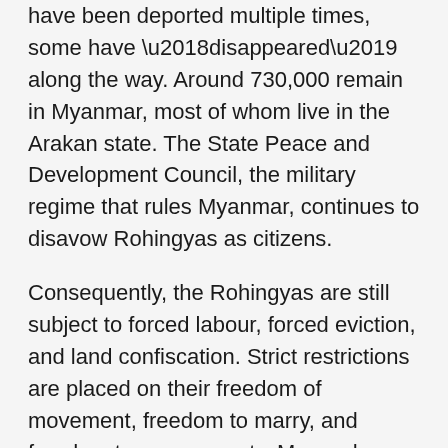have been deported multiple times, some have 'disappeared' along the way. Around 730,000 remain in Myanmar, most of whom live in the Arakan state. The State Peace and Development Council, the military regime that rules Myanmar, continues to disavow Rohingyas as citizens.
Consequently, the Rohingyas are still subject to forced labour, forced eviction, and land confiscation. Strict restrictions are placed on their freedom of movement, freedom to marry, and freedom to own property. Many who return from abroad have been imprisoned for years, punished for crossing the border ‘illegally’. Conditions in the Arakan state continue to deteriorate, increasing the likelihood of further outflows into neighbouring countries.
The UNHCR has been allowed limited access inside Burma. The UN agency claims that it has helped more than 200,000 to get better healthcare and some 25,000